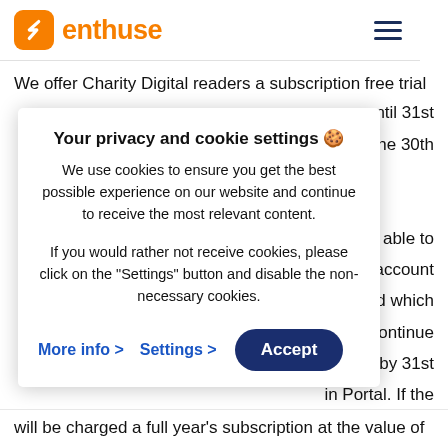[Figure (logo): Enthuse logo: orange rounded square icon with white lightning/E symbol, followed by 'enthuse' in orange bold text]
We offer Charity Digital readers a subscription free trial
on until 31st
he 30th
Your privacy and cookie settings 🍪
We use cookies to ensure you get the best possible experience on our website and continue to receive the most relevant content.
If you would rather not receive cookies, please click on the "Settings" button and disable the non-necessary cookies.
be able to
bank account
rial period which
wish to continue
ncel it by 31st
in Portal. If the
ieir bank account
will be charged a full year's subscription at the value of